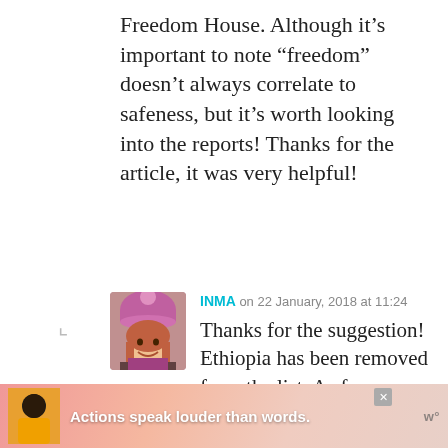Freedom House. Although it’s important to note “freedom” doesn’t always correlate to safeness, but it’s worth looking into the reports! Thanks for the article, it was very helpful!
[Figure (photo): Avatar photo of commenter INMA, a woman wearing a pink/purple knit hat, smiling]
INMA on 22 January, 2018 at 11:24 Thanks for the suggestion! Ethiopia has been removed from the list. As for Rwanda, the
[Figure (infographic): Advertisement banner at the bottom: pink/warm background with a person in yellow jacket, bold white text reading 'Actions speak louder than words.' with logo on right]